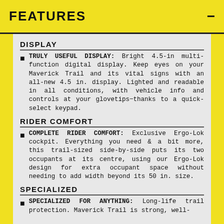FEATURES  −
DISPLAY
TRULY USEFUL DISPLAY: Bright 4.5-in multi-function digital display. Keep eyes on your Maverick Trail and its vital signs with an all-new 4.5 in. display. Lighted and readable in all conditions, with vehicle info and controls at your glovetips−thanks to a quick-select keypad.
RIDER COMFORT
COMPLETE RIDER COMFORT: Exclusive Ergo-Lok cockpit. Everything you need & a bit more, this trail-sized side-by-side puts its two occupants at its centre, using our Ergo-Lok design for extra occupant space without needing to add width beyond its 50 in. size.
SPECIALIZED
SPECIALIZED FOR ANYTHING: Long-life trail protection. Maverick Trail is strong, well-balanced, and designed for battle. Every surface of the Maverick Trail is designed with protection in mind.